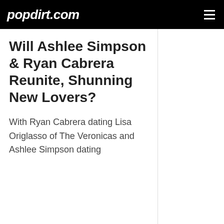popdirt.com
Will Ashlee Simpson & Ryan Cabrera Reunite, Shunning New Lovers?
With Ryan Cabrera dating Lisa Origlasso of The Veronicas and Ashlee Simpson dating the...